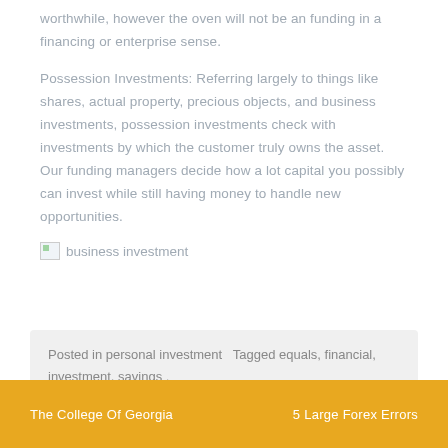worthwhile, however the oven will not be an funding in a financing or enterprise sense.
Possession Investments: Referring largely to things like shares, actual property, precious objects, and business investments, possession investments check with investments by which the customer truly owns the asset. Our funding managers decide how a lot capital you possibly can invest while still having money to handle new opportunities.
[Figure (photo): Broken image placeholder labeled 'business investment']
Posted in personal investment   Tagged equals, financial, investment, savings .
The College Of Georgia          5 Large Forex Errors